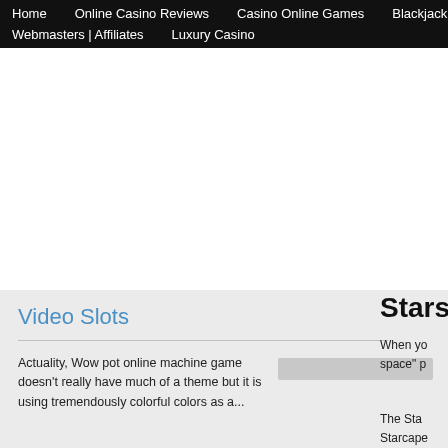Home  Online Casino Reviews  Casino Online Games  Blackjack  Webmasters | Affiliates  Luxury Casino
[Figure (other): White advertisement/banner area, mostly blank]
Video Slots
Actuality, Wow pot online machine game doesn't really have much of a theme but it is using tremendously colorful colors as a...
Stars
When yo space" p
The Sta Starcape of the sy